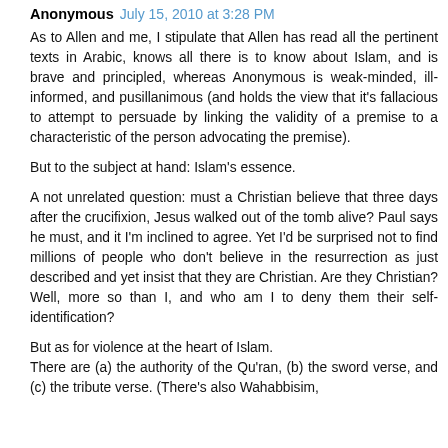Anonymous July 15, 2010 at 3:28 PM
As to Allen and me, I stipulate that Allen has read all the pertinent texts in Arabic, knows all there is to know about Islam, and is brave and principled, whereas Anonymous is weak-minded, ill-informed, and pusillanimous (and holds the view that it's fallacious to attempt to persuade by linking the validity of a premise to a characteristic of the person advocating the premise).
But to the subject at hand: Islam’s essence.
A not unrelated question: must a Christian believe that three days after the crucifixion, Jesus walked out of the tomb alive? Paul says he must, and it I’m inclined to agree. Yet I’d be surprised not to find millions of people who don’t believe in the resurrection as just described and yet insist that they are Christian. Are they Christian? Well, more so than I, and who am I to deny them their self-identification?
But as for violence at the heart of Islam.
There are (a) the authority of the Qu’ran, (b) the sword verse, and (c) the tribute verse. (There’s also Wahabbisim,